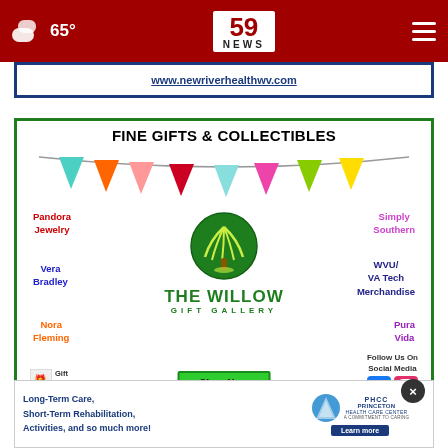65° NEWS 59
[Figure (screenshot): Partial ad banner showing www.newriverhealthwv.com website URL in blue text with blue border]
[Figure (infographic): The Willow Gift Gallery advertisement featuring Fine Gifts & Collectibles header, colorful bunting triangles, brand names: Pandora Jewelry (red), Simply Southern (pink/purple), Vera Bradley (blue), WVU/VA Tech Merchandise (navy), Nora Fleming (orange), Pura Vida (purple), center willow tree logo, Shop Now green button, Gift Certificates Available, Follow Us On Social Media with Facebook and Instagram icons]
[Figure (infographic): Princeton Health Care Center ad: Long-Term Care, Short-Term Rehabilitation, Activities, and so much more! with PHCC logo and Learn more button]